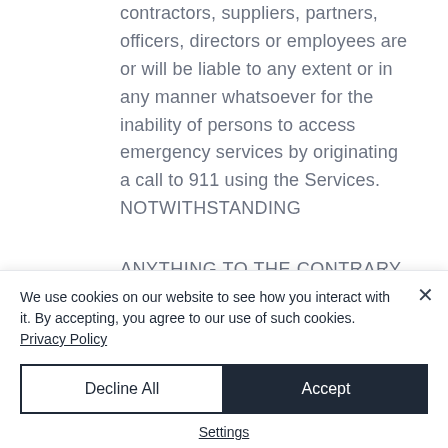contractors, suppliers, partners, officers, directors or employees are or will be liable to any extent or in any manner whatsoever for the inability of persons to access emergency services by originating a call to 911 using the Services. NOTWITHSTANDING ANYTHING TO THE CONTRARY
We use cookies on our website to see how you interact with it. By accepting, you agree to our use of such cookies. Privacy Policy
Decline All
Accept
Settings